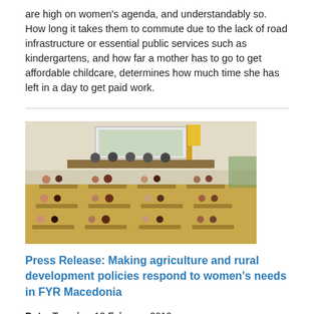are high on women's agenda, and understandably so. How long it takes them to commute due to the lack of road infrastructure or essential public services such as kindergartens, and how far a mother has to go to get affordable childcare, determines how much time she has left in a day to get paid work.
[Figure (photo): A conference room with participants seated at desks, facing a panel of speakers at the front of the room. Appears to be a formal meeting or press conference setting.]
Press Release: Making agriculture and rural development policies respond to women's needs in FYR Macedonia
Date: Tuesday, 12 February 2019
Findings of a UN Women-supported research in the former Yugoslav Republic of Macedonia showed that only 12 per cent of women in rural areas are land owners and less than 10 per cent have decision-making roles related to land. While women in agriculture work on average 11.06 hours per day, 41,7% of the total workload belongs to unpaid work.